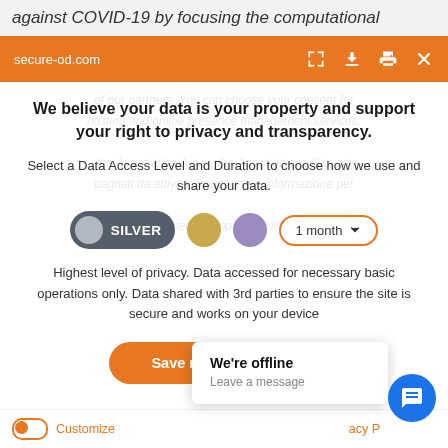against COVID-19 by focusing the computational
[Figure (screenshot): Orange browser toolbar showing secure-od.com URL with expand, download, print, and close icons]
We believe your data is your property and support your right to privacy and transparency.
Select a Data Access Level and Duration to choose how we use and share your data.
[Figure (infographic): Privacy level selector with SILVER toggle (active), gold circle, purple circle, and 1 month dropdown]
Highest level of privacy. Data accessed for necessary basic operations only. Data shared with 3rd parties to ensure the site is secure and works on your device
[Figure (screenshot): Orange Save my preferences button]
[Figure (infographic): We're offline popup with Leave a message text and blue chat button]
[Figure (infographic): Bottom bar with orange Customize toggle and privacy link]